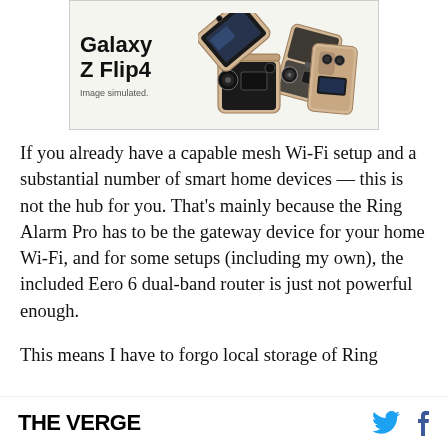[Figure (photo): Advertisement for Samsung Galaxy Z Flip4. Shows the phone in a partially folded state with the text 'Galaxy Z Flip4' and 'Image simulated.' below it. Gold/pink colored flip phone displayed from multiple angles.]
If you already have a capable mesh Wi-Fi setup and a substantial number of smart home devices — this is not the hub for you. That's mainly because the Ring Alarm Pro has to be the gateway device for your home Wi-Fi, and for some setups (including my own), the included Eero 6 dual-band router is just not powerful enough.
This means I have to forgo local storage of Ring
THE VERGE